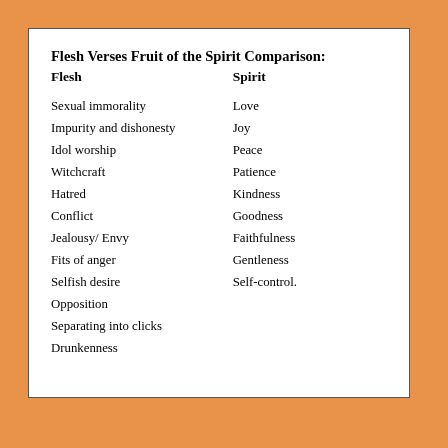Flesh Verses Fruit of the Spirit Comparison:
| Flesh | Spirit |
| --- | --- |
| Sexual immorality | Love |
| Impurity and dishonesty | Joy |
| Idol worship | Peace |
| Witchcraft | Patience |
| Hatred | Kindness |
| Conflict | Goodness |
| Jealousy/ Envy | Faithfulness |
| Fits of anger | Gentleness |
| Selfish desire | Self-control. |
| Opposition |  |
| Separating into clicks |  |
| Drunkenness |  |